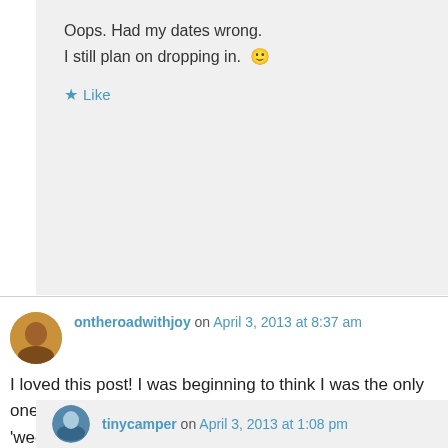Oops. Had my dates wrong.
I still plan on dropping in. 🙂
Like
ontheroadwithjoy on April 3, 2013 at 8:37 am
I loved this post! I was beginning to think I was the only one that enjoyed foraging. I'm trying to learn what 'weeds' we can eat…to make teas and super green powders. I'll have to try that tea!
Like
tinycamper on April 3, 2013 at 1:08 pm